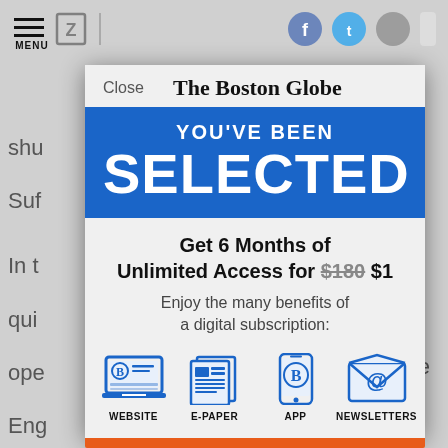[Figure (screenshot): Screenshot of The Boston Globe website with a subscription modal overlay. Background shows article text partially visible. Modal contains 'Close' button and Boston Globe logo at top, blue banner reading 'YOU'VE BEEN SELECTED', offer text 'Get 6 Months of Unlimited Access for $180 $1', subtitle 'Enjoy the many benefits of a digital subscription:', and four benefit icons: WEBSITE, E-PAPER, APP, NEWSLETTERS.]